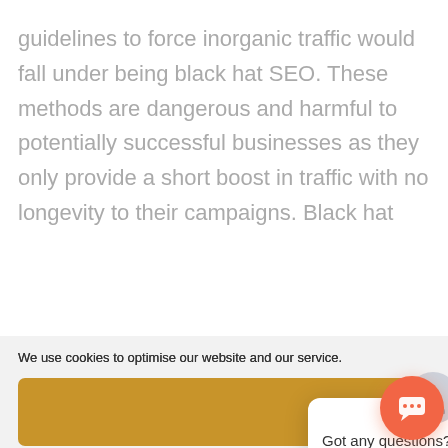guidelines to force inorganic traffic would fall under being black hat SEO. These methods are dangerous and harmful to potentially successful businesses as they only provide a short boost in traffic with no longevity to their campaigns. Black hat
We use cookies to optimise our website and our service.
[Figure (screenshot): Cookie consent bar with Accept, Deny (greyed out), and Preferences buttons, plus a Privacy Policy link]
[Figure (screenshot): Chat widget popup with avatar icon, close button (×), and text 'Got any questions? I'm happy to help.' with an orange chat bubble button in the bottom right]